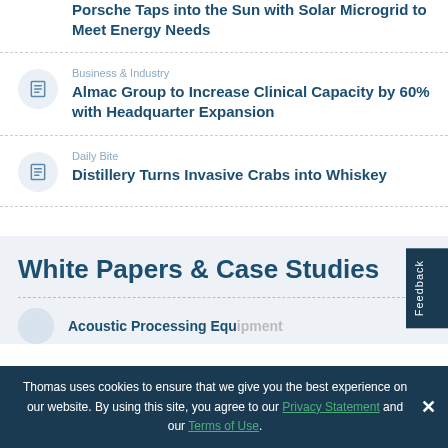Porsche Taps into the Sun with Solar Microgrid to Meet Energy Needs
Business & Industry
Almac Group to Increase Clinical Capacity by 60% with Headquarter Expansion
Daily Bite
Distillery Turns Invasive Crabs into Whiskey
White Papers & Case Studies
Acoustic Processing Equipment
Thomas uses cookies to ensure that we give you the best experience on our website. By using this site, you agree to our Privacy Statement and our Terms of Use.